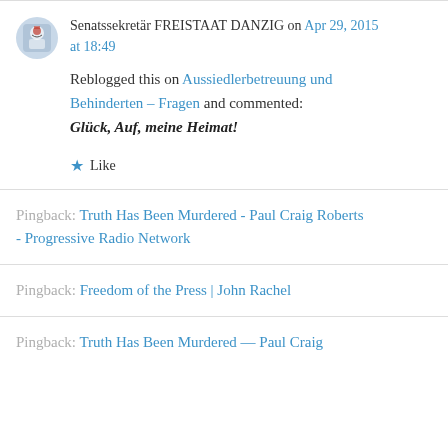Senatssekretär FREISTAAT DANZIG on Apr 29, 2015 at 18:49
Reblogged this on Aussiedlerbetreuung und Behinderten – Fragen and commented: Glück, Auf, meine Heimat!
★ Like
Pingback: Truth Has Been Murdered - Paul Craig Roberts - Progressive Radio Network
Pingback: Freedom of the Press | John Rachel
Pingback: Truth Has Been Murdered — Paul Craig